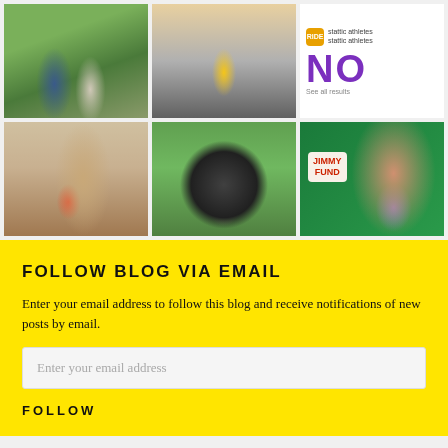[Figure (photo): 3x2 grid of Instagram-style photos: two people on grass, cyclist with bike, social media 'NO' post, person indoors with child, cyclist selfie with helmet outdoors, woman holding baby near Jimmy Fund sign]
FOLLOW BLOG VIA EMAIL
Enter your email address to follow this blog and receive notifications of new posts by email.
Enter your email address
FOLLOW